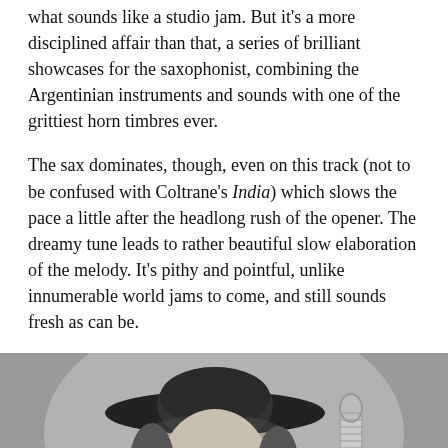what sounds like a studio jam. But it's a more disciplined affair than that, a series of brilliant showcases for the saxophonist, combining the Argentinian instruments and sounds with one of the grittiest horn timbres ever.
The sax dominates, though, even on this track (not to be confused with Coltrane's India) which slows the pace a little after the headlong rush of the opener. The dreamy tune leads to rather beautiful slow elaboration of the melody. It's pithy and pointful, unlike innumerable world jams to come, and still sounds fresh as can be.
[Figure (photo): Black and white photograph of a man wearing a wide-brimmed hat and glasses, singing or speaking into a microphone. The image is cropped to show his face and upper body.]